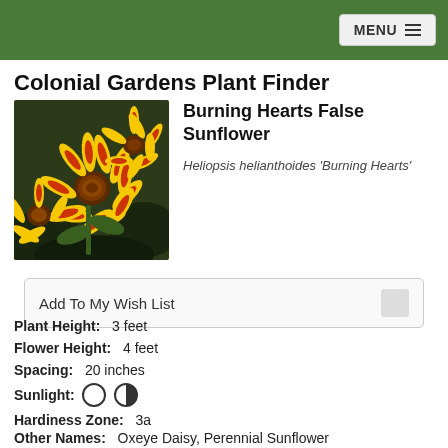MENU
Colonial Gardens Plant Finder
[Figure (photo): Close-up photo of Burning Hearts False Sunflower (Heliopsis helianthoides 'Burning Hearts') with yellow and orange-red petals]
Burning Hearts False Sunflower
Heliopsis helianthoides 'Burning Hearts'
Add To My Wish List
Plant Height:  3 feet
Flower Height:  4 feet
Spacing:  20 inches
Sunlight:
Hardiness Zone:  3a
Other Names:  Oxeye Daisy, Perennial Sunflower